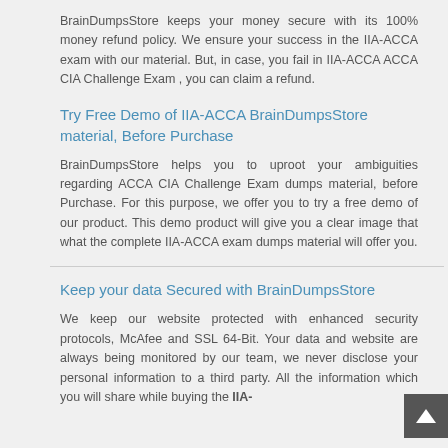BrainDumpsStore keeps your money secure with its 100% money refund policy. We ensure your success in the IIA-ACCA exam with our material. But, in case, you fail in IIA-ACCA ACCA CIA Challenge Exam , you can claim a refund.
Try Free Demo of IIA-ACCA BrainDumpsStore material, Before Purchase
BrainDumpsStore helps you to uproot your ambiguities regarding ACCA CIA Challenge Exam dumps material, before Purchase. For this purpose, we offer you to try a free demo of our product. This demo product will give you a clear image that what the complete IIA-ACCA exam dumps material will offer you.
Keep your data Secured with BrainDumpsStore
We keep our website protected with enhanced security protocols, McAfee and SSL 64-Bit. Your data and website are always being monitored by our team, we never disclose your personal information to a third party. All the information which you will share while buying the IIA-